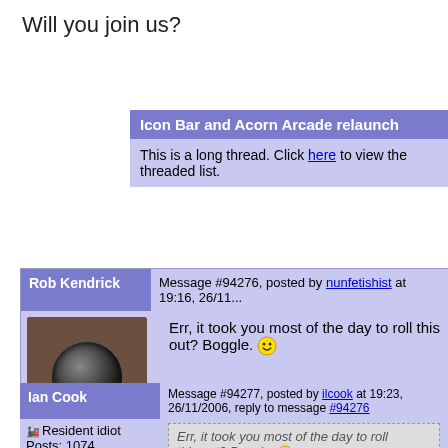Will you join us?
Icon Bar and Acorn Arcade relaunch
This is a long thread. Click here to view the threaded list.
Rob Kendrick
Message #94276, posted by nunfetishist at 19:16, 26/11...
[Figure (photo): Speaker/camera lens avatar with caption 'Today's phish is trout a la creme.' and Posts: 517]
Err, it took you most of the day to roll this out? Boggle. :)
Ian Cook
Message #94277, posted by ilcook at 19:23, 26/11/2006, reply to message #94276
Resident idiot Posts: 1074
Err, it took you most of the day to roll this out? Boggle. :)